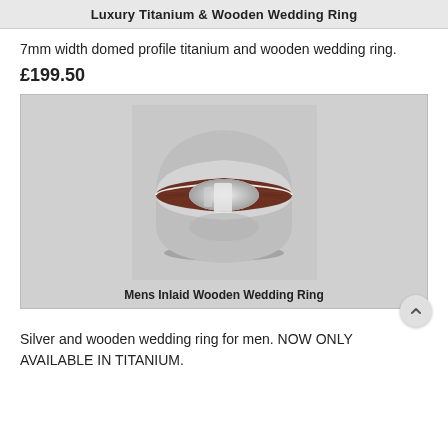Luxury Titanium & Wooden Wedding Ring
7mm width domed profile titanium and wooden wedding ring.
£199.50
[Figure (photo): A silver and wooden inlaid wedding ring with a dark wood stripe around the center band, photographed on a light gray background. The ring shows the interior of the band as well.]
Mens Inlaid Wooden Wedding Ring
Silver and wooden wedding ring for men. NOW ONLY AVAILABLE IN TITANIUM.